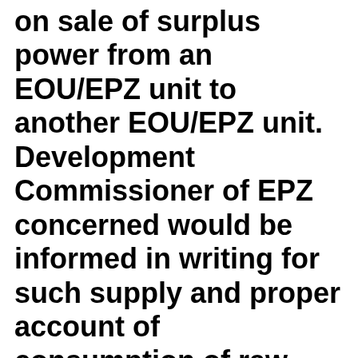on sale of surplus power from an EOU/EPZ unit to another EOU/EPZ unit. Development Commissioner of EPZ concerned would be informed in writing for such supply and proper account of consumption of raw material would be maintained by the supplying unit for calculation of NFEP." = Yet, the appellant received a show cause notice from the Commissioner of